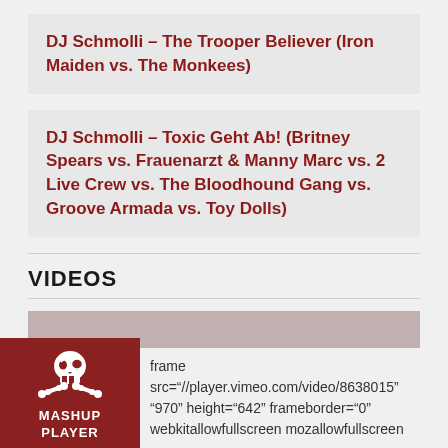DJ Schmolli – The Trooper Believer (Iron Maiden vs. The Monkees)
DJ Schmolli – Toxic Geht Ab! (Britney Spears vs. Frauenarzt & Manny Marc vs. 2 Live Crew vs. The Bloodhound Gang vs. Groove Armada vs. Toy Dolls)
VIDEOS
[Figure (other): Video placeholder / thumbnail area, dark reddish-brown rectangle]
DJ Tripp – Just Stop Believin' – Lady Gaga vs Journey
frame src="//player.vimeo.com/video/8638015" "970" height="642" frameborder="0" webkitallowfullscreen mozallowfullscreen
[Figure (logo): Mashup Player logo: skull and crossbones icon on dark red background with text MASHUP PLAYER]